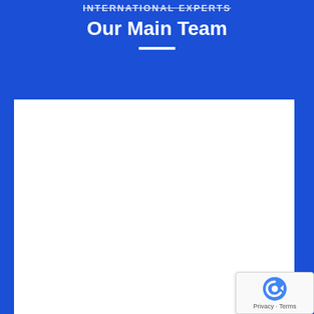INTERNATIONAL EXPERTS
Our Main Team
[Figure (other): Large white rectangular content area on blue background, appears to be a placeholder or image loading area]
[Figure (other): Google reCAPTCHA badge with arrow icon and Privacy - Terms text]